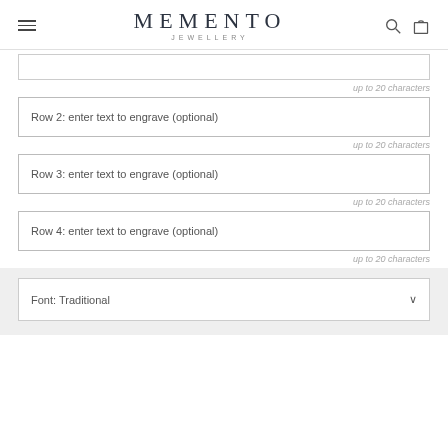MEMENTO JEWELLERY
up to 20 characters
Row 2: enter text to engrave (optional)
up to 20 characters
Row 3: enter text to engrave (optional)
up to 20 characters
Row 4: enter text to engrave (optional)
up to 20 characters
Font: Traditional